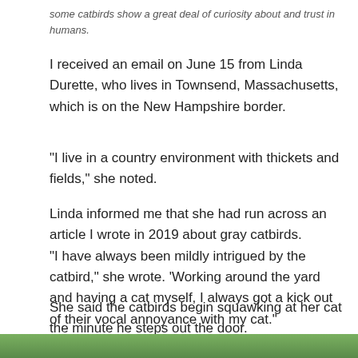some catbirds show a great deal of curiosity about and trust in humans.
I received an email on June 15 from Linda Durette, who lives in Townsend, Massachusetts, which is on the New Hampshire border.
“I live in a country environment with thickets and fields,” she noted.
Linda informed me that she had run across an article I wrote in 2019 about gray catbirds.
“I have always been mildly intrigued by the catbird,” she wrote. ‘Working around the yard and having a cat myself, I always got a kick out of their vocal annoyance with my cat.”
She said the catbirds begin squawking at her cat the minute he steps out the door.
[Figure (photo): Bottom edge of a nature/bird photo, showing green foliage]